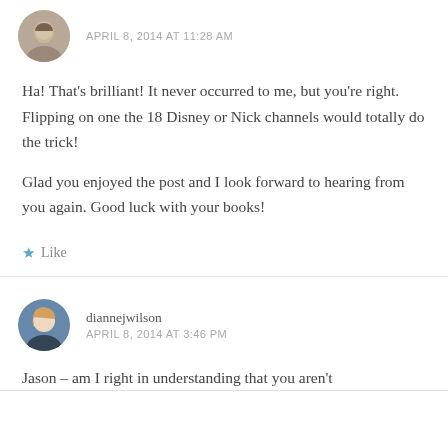APRIL 8, 2014 AT 11:28 AM
Ha! That's brilliant! It never occurred to me, but you're right. Flipping on one the 18 Disney or Nick channels would totally do the trick!
Glad you enjoyed the post and I look forward to hearing from you again. Good luck with your books!
★ Like
diannejwilson
APRIL 8, 2014 AT 3:46 PM
Jason – am I right in understanding that you aren't